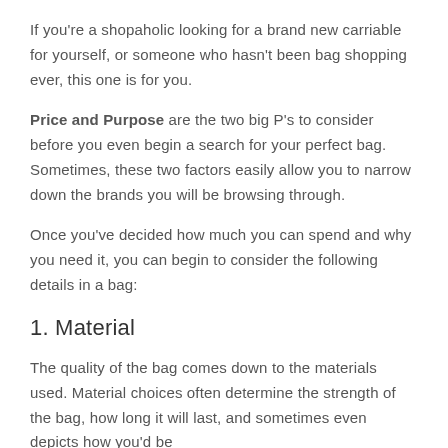If you're a shopaholic looking for a brand new carriable for yourself, or someone who hasn't been bag shopping ever, this one is for you.
Price and Purpose are the two big P's to consider before you even begin a search for your perfect bag. Sometimes, these two factors easily allow you to narrow down the brands you will be browsing through.
Once you've decided how much you can spend and why you need it, you can begin to consider the following details in a bag:
1. Material
The quality of the bag comes down to the materials used. Material choices often determine the strength of the bag, how long it will last, and sometimes even depicts how you'd be